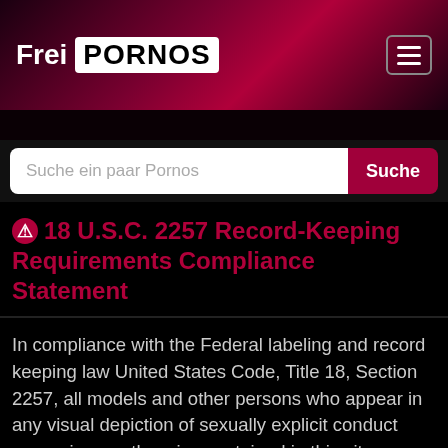Frei PORNOS
18 U.S.C. 2257 Record-Keeping Requirements Compliance Statement
In compliance with the Federal labeling and record keeping law United States Code, Title 18, Section 2257, all models and other persons who appear in any visual depiction of sexually explicit conduct appearing or otherwise contained in this site were over the age of eighteen years at the time of the creation of such depictions. All content and images are in full compliance with the requirements of United States